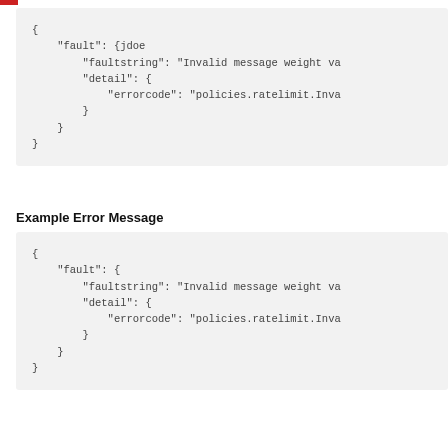[Figure (screenshot): Code block showing a JSON fault response with faultstring 'Invalid message weight va' and errorcode 'policies.ratelimit.Inva', with jdoe annotation]
Example Error Message
[Figure (screenshot): Code block showing a JSON fault response with faultstring 'Invalid message weight va' and errorcode 'policies.ratelimit.Inva']